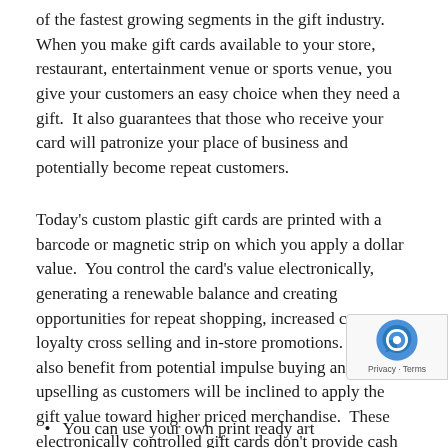of the fastest growing segments in the gift industry.  When you make gift cards available to your store, restaurant, entertainment venue or sports venue, you give your customers an easy choice when they need a gift.  It also guarantees that those who receive your card will patronize your place of business and potentially become repeat customers.
Today's custom plastic gift cards are printed with a barcode or magnetic strip on which you apply a dollar value.  You control the card's value electronically, generating a renewable balance and creating opportunities for repeat shopping, increased customer loyalty cross selling and in-store promotions.  You can also benefit from potential impulse buying and upselling as customers will be inclined to apply the gift value toward higher priced merchandise.  These electronically controlled gift cards don't provide cash refunds on the balance.  Whether your establishment is large or small, Custom Plastic Gift Cards make sense.
• You can use your own print ready art